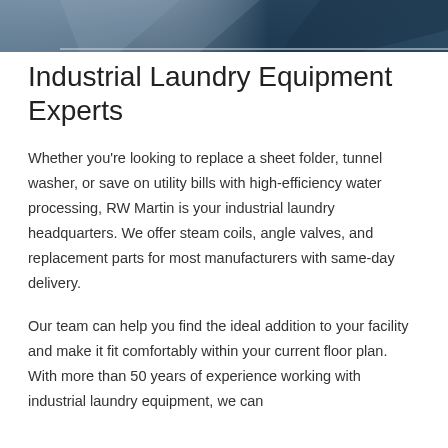[Figure (photo): Decorative header image showing industrial/architectural detail in dark blue-gray tones]
Industrial Laundry Equipment Experts
Whether you're looking to replace a sheet folder, tunnel washer, or save on utility bills with high-efficiency water processing, RW Martin is your industrial laundry headquarters. We offer steam coils, angle valves, and replacement parts for most manufacturers with same-day delivery.
Our team can help you find the ideal addition to your facility and make it fit comfortably within your current floor plan. With more than 50 years of experience working with industrial laundry equipment, we can